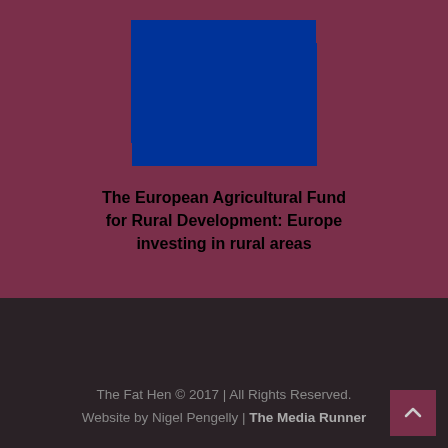[Figure (logo): European Union flag: dark blue rectangle with a circle of 12 yellow five-pointed stars]
The European Agricultural Fund for Rural Development: Europe investing in rural areas
The Fat Hen © 2017 | All Rights Reserved.
Website by Nigel Pengelly | The Media Runner